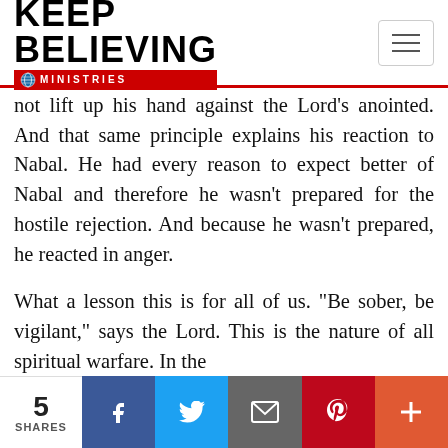Keep Believing Ministries
not lift up his hand against the Lord’s anointed. And that same principle explains his reaction to Nabal. He had every reason to expect better of Nabal and therefore he wasn’t prepared for the hostile rejection. And because he wasn’t prepared, he reacted in anger.
What a lesson this is for all of us. “Be sober, be vigilant,” says the Lord. This is the nature of all spiritual warfare. In the
5 SHARES | Facebook | Twitter | Email | Pinterest | More